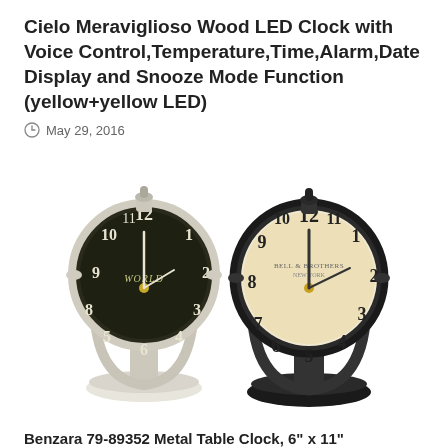Cielo Meraviglioso Wood LED Clock with Voice Control,Temperature,Time,Alarm,Date Display and Snooze Mode Function (yellow+yellow LED)
May 29, 2016
[Figure (photo): Two vintage-style metal table clocks on stands: one white/cream colored with a dark face showing Roman and Arabic numerals, and one black with a cream/aged face showing Arabic numerals. Both clocks have a globe-style tilting frame on a round base.]
Benzara 79-89352 Metal Table Clock, 6" x 11"